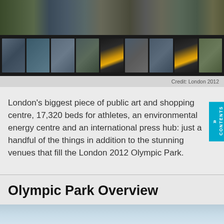[Figure (photo): Aerial view of London 2012 Olympic Park construction/site, panoramic banner image]
[Figure (photo): Strip of 9 thumbnail photographs showing various views of the London 2012 Olympic Park venues and facilities]
Credit: London 2012
London's biggest piece of public art and shopping centre, 17,320 beds for athletes, an environmental energy centre and an international press hub: just a handful of the things in addition to the stunning venues that fill the London 2012 Olympic Park.
Olympic Park Overview
[Figure (photo): Bottom partial photo, appears to be a sky/landscape image of the Olympic Park area]